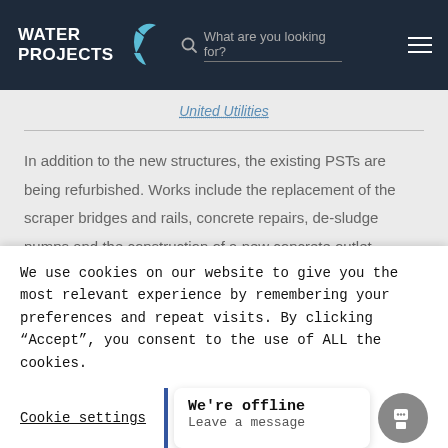WATER PROJECTS
United Utilities
In addition to the new structures, the existing PSTs are being refurbished. Works include the replacement of the scraper bridges and rails, concrete repairs, de-sludge pumps and the construction of a new concrete outlet channel for connection to the new ASP. Delivery of the PSTs has been optimised using
We use cookies on our website to give you the most relevant experience by remembering your preferences and repeat visits. By clicking "Accept", you consent to the use of ALL the cookies.
Cookie settings
We're offline
Leave a message